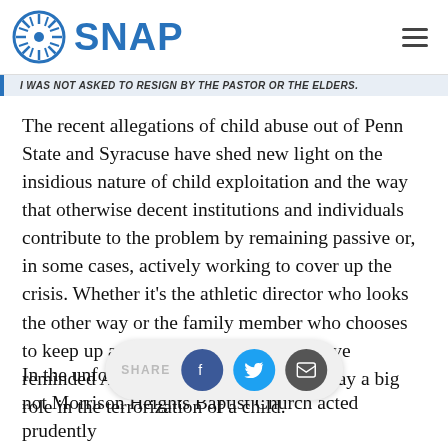SNAP
I WAS NOT ASKED TO RESIGN BY THE PASTOR OR THE ELDERS.
The recent allegations of child abuse out of Penn State and Syracuse have shed new light on the insidious nature of child exploitation and the way that otherwise decent institutions and individuals contribute to the problem by remaining passive or, in some cases, actively working to cover up the crisis. Whether it's the athletic director who looks the other way or the family member who chooses to keep up appearances, these stories have reminded Americans that inaction can play a big role in the terrorization of a child.
In the unfolding to er w the not Morrison Heights Baptist Church acted prudently